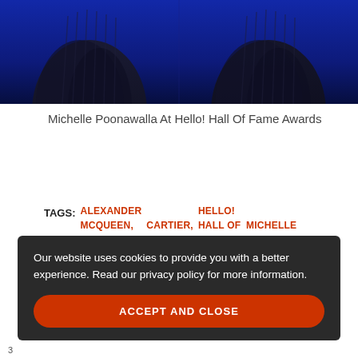[Figure (photo): Photo of a dark navy/blue dress at Hello! Hall Of Fame Awards, shown as a cropped top portion with pleated fabric details against a blue background]
Michelle Poonawalla At Hello! Hall Of Fame Awards
Photo Credit: Viral Bhayani
TAGS: ALEXANDER MCQUEEN, CARTIER, HELLO! HALL OF FAME AWARDS 2018, MICHELLE POONAWALLA
Our website uses cookies to provide you with a better experience. Read our privacy policy for more information. ACCEPT AND CLOSE
3